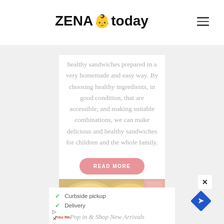ZENA today
healthy sandwiches prepared in a very homemade and easy way. By choosing healthy ingredients, in good condition, that are accessible, and making suitable combinations, we can make delicious and healthy sandwiches for children and the whole family.
READ MORE
[Figure (photo): Photo of bread rolls and deli meat]
Curbside pickup
Delivery
[Figure (logo): Price Rite logo and navigation diamond icon]
Pop in & Shop New Arrivals